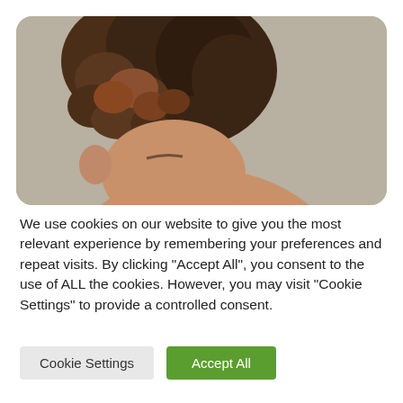[Figure (photo): Partial view of a woman with curly hair pulled up, seen from the side/back, against a neutral beige/taupe background. Only the top and right side of her head is visible.]
We use cookies on our website to give you the most relevant experience by remembering your preferences and repeat visits. By clicking "Accept All", you consent to the use of ALL the cookies. However, you may visit "Cookie Settings" to provide a controlled consent.
Cookie Settings
Accept All